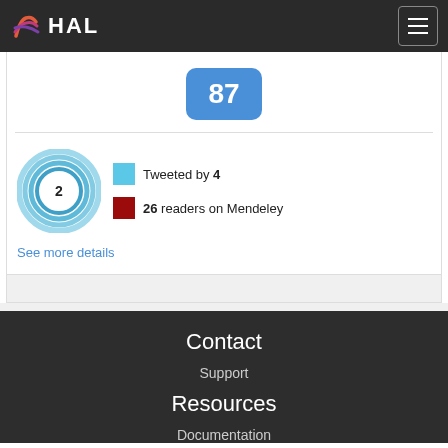HAL
[Figure (infographic): Score badge showing 87 in a blue rounded rectangle]
[Figure (infographic): Altmetric donut chart showing score 2, with blue square for Tweeted by 4, and red square for 26 readers on Mendeley]
Tweeted by 4
26 readers on Mendeley
See more details
Contact
Support
Resources
Documentation